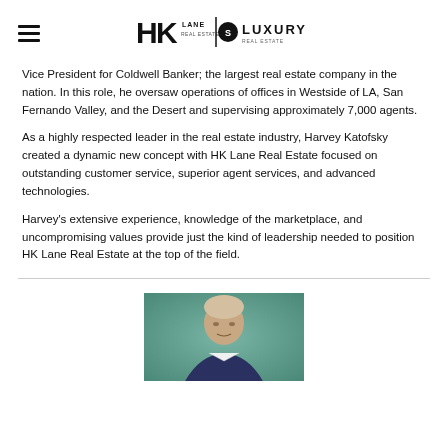HK Lane | Luxury Real Estate
Vice President for Coldwell Banker; the largest real estate company in the nation. In this role, he oversaw operations of offices in Westside of LA, San Fernando Valley, and the Desert and supervising approximately 7,000 agents.
As a highly respected leader in the real estate industry, Harvey Katofsky created a dynamic new concept with HK Lane Real Estate focused on outstanding customer service, superior agent services, and advanced technologies.
Harvey's extensive experience, knowledge of the marketplace, and uncompromising values provide just the kind of leadership needed to position HK Lane Real Estate at the top of the field.
[Figure (photo): Portrait photo of Harvey Katofsky, a man visible from mid-chest up, shown at the bottom of the page against a teal/blue-green background.]